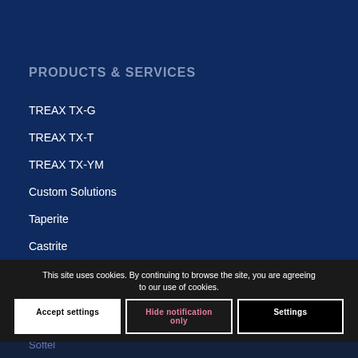PRODUCTS & SERVICES
TREAX TX-G
TREAX TX-T
TREAX TX-YM
Custom Solutions
Taperite
Castrite
Cablerite
Labelrite
Pr...
Softel
This site uses cookies. By continuing to browse the site, you are agreeing to our use of cookies.
Accept settings
Hide notification only
Settings